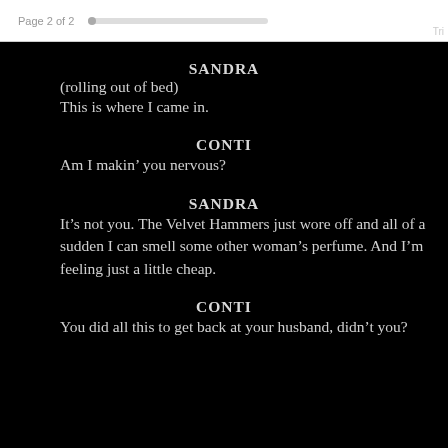Page 2 of 2
SANDRA
(rolling out of bed)
This is where I came in.
CONTI
Am I makin' you nervous?
SANDRA
It's not you. The Velvet Hammers just wore off and all of a sudden I can smell some other woman's perfume. And I'm feeling just a little cheap.
CONTI
You did all this to get back at your husband, didn't you?